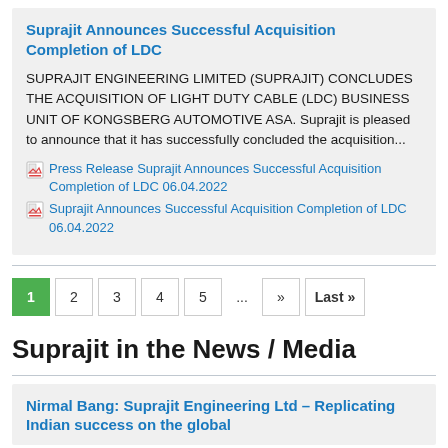Suprajit Announces Successful Acquisition Completion of LDC
SUPRAJIT ENGINEERING LIMITED (SUPRAJIT) CONCLUDES THE ACQUISITION OF LIGHT DUTY CABLE (LDC) BUSINESS UNIT OF KONGSBERG AUTOMOTIVE ASA. Suprajit is pleased to announce that it has successfully concluded the acquisition...
Press Release Suprajit Announces Successful Acquisition Completion of LDC 06.04.2022
Suprajit Announces Successful Acquisition Completion of LDC 06.04.2022
1  2  3  4  5  ...  »  Last »
Suprajit in the News / Media
Nirmal Bang: Suprajit Engineering Ltd – Replicating Indian success on the global